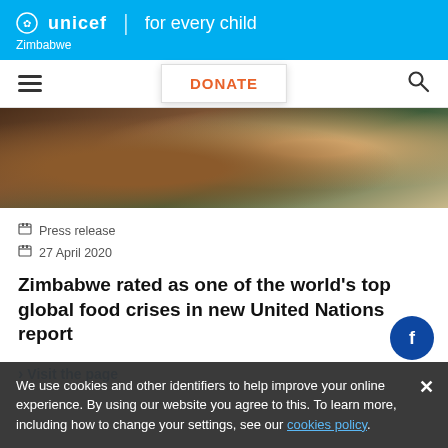unicef | for every child — Zimbabwe
DONATE
[Figure (photo): Close-up photograph of a person wearing beaded necklace, partial view, warm tones]
Press release
27 April 2020
Zimbabwe rated as one of the world's top global food crises in new United Nations report
› Visit the page
We use cookies and other identifiers to help improve your online experience. By using our website you agree to this. To learn more, including how to change your settings, see our cookies policy.